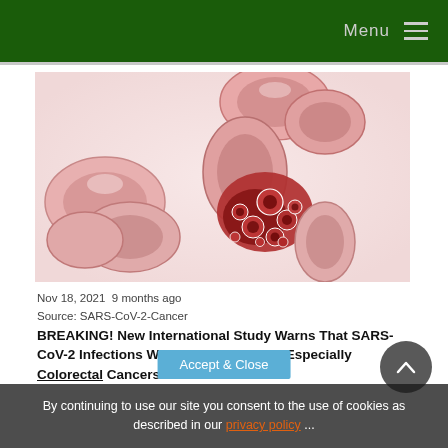Menu
[Figure (illustration): Medical illustration of colorectal cancer: a cross-section of the colon showing cancerous tumor growth with red and pink tissue, cells, and nodules on intestinal walls.]
Nov 18, 2021  9 months ago
Source: SARS-CoV-2-Cancer
BREAKING! New International Study Warns That SARS-CoV-2 Infections Will Lead To Cancers Especially Colorectal Cancers Due to
By continuing to use our site you consent to the use of cookies as described in our privacy policy ...
Accept & Close